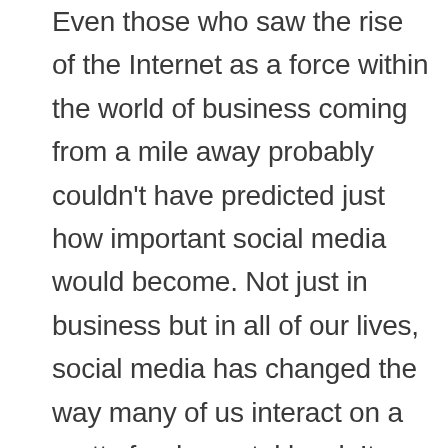Even those who saw the rise of the Internet as a force within the world of business coming from a mile away probably couldn't have predicted just how important social media would become. Not just in business but in all of our lives, social media has changed the way many of us interact on a pretty fundamental level. It allows us to share more of our lives than ever before, as well as helping you to keep in contact with anyone no matter how far away they are. As soon as social media secured itself as a driving force in modern society, there was no way that the world of business wasn't going to get in on the action. The problem is that, despite knowing how